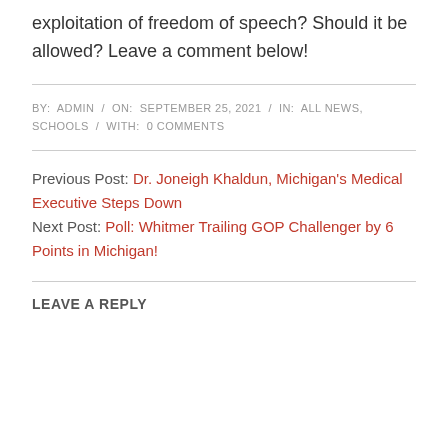exploitation of freedom of speech? Should it be allowed? Leave a comment below!
BY: ADMIN / ON: SEPTEMBER 25, 2021 / IN: ALL NEWS, SCHOOLS / WITH: 0 COMMENTS
Previous Post: Dr. Joneigh Khaldun, Michigan's Medical Executive Steps Down
Next Post: Poll: Whitmer Trailing GOP Challenger by 6 Points in Michigan!
LEAVE A REPLY